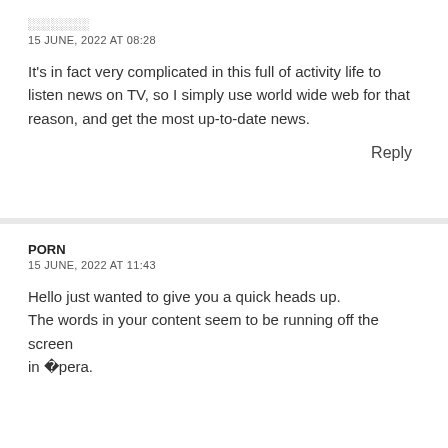░░░░░░░░
15 JUNE, 2022 AT 08:28
It’s in fact very complicated in this full of activity life to listen news on TV, so I simply use world wide web for that reason, and get the most up-to-date news.
Reply
PORN
15 JUNE, 2022 AT 11:43
Hello just wanted to give you a quick heads up. The words in your content seem to be running off the screen in �pera.